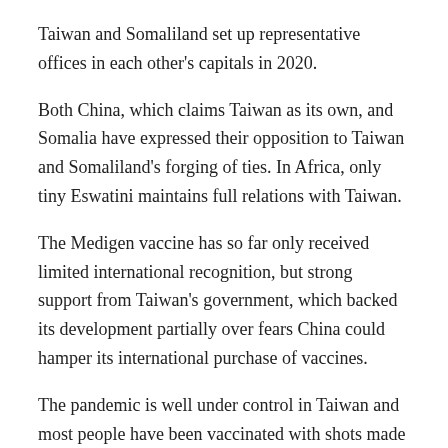Taiwan and Somaliland set up representative offices in each other's capitals in 2020.
Both China, which claims Taiwan as its own, and Somalia have expressed their opposition to Taiwan and Somaliland's forging of ties. In Africa, only tiny Eswatini maintains full relations with Taiwan.
The Medigen vaccine has so far only received limited international recognition, but strong support from Taiwan's government, which backed its development partially over fears China could hamper its international purchase of vaccines.
The pandemic is well under control in Taiwan and most people have been vaccinated with shots made by AstraZeneca Plc (AZN.L), BioNTech SE (22UAy.DE) and Moderna